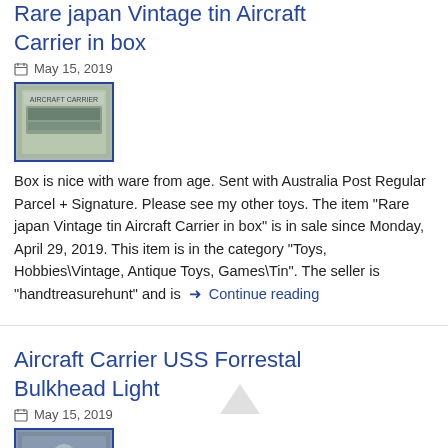Rare japan Vintage tin Aircraft Carrier in box
May 15, 2019
[Figure (photo): Thumbnail photo of a vintage tin Aircraft Carrier in its box, showing Japanese packaging]
Box is nice with ware from age. Sent with Australia Post Regular Parcel + Signature. Please see my other toys. The item "Rare japan Vintage tin Aircraft Carrier in box" is in sale since Monday, April 29, 2019. This item is in the category "Toys, Hobbies\Vintage, Antique Toys, Games\Tin". The seller is "handtreasurehunt" and is  → Continue reading
Aircraft Carrier USS Forrestal Bulkhead Light
May 15, 2019
[Figure (photo): Thumbnail photo of Aircraft Carrier USS Forrestal Bulkhead Light item]